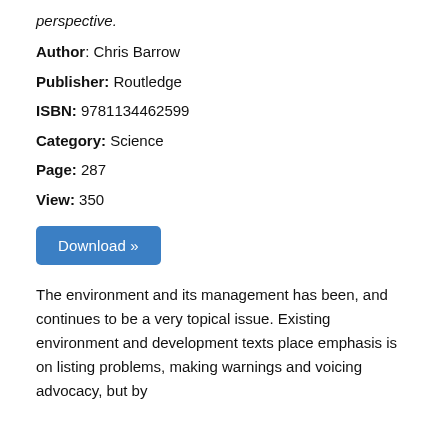perspective.
Author: Chris Barrow
Publisher: Routledge
ISBN: 9781134462599
Category: Science
Page: 287
View: 350
Download »
The environment and its management has been, and continues to be a very topical issue. Existing environment and development texts place emphasis is on listing problems, making warnings and voicing advocacy, but by